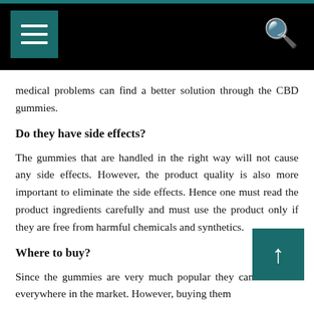Navigation bar with hamburger menu and search icon
medical problems can find a better solution through the CBD gummies.
Do they have side effects?
The gummies that are handled in the right way will not cause any side effects. However, the product quality is also more important to eliminate the side effects. Hence one must read the product ingredients carefully and must use the product only if they are free from harmful chemicals and synthetics.
Where to buy?
Since the gummies are very much popular they can be found everywhere in the market. However, buying them